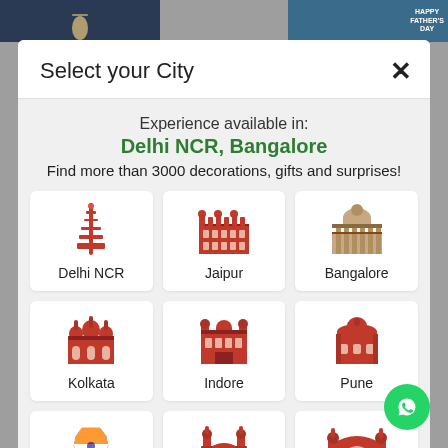[Figure (screenshot): Background strip with partial images — a dark navy image and a blue 'Happy Father's Day' card visible at top]
Select your City
Experience available in:
Delhi NCR, Bangalore
Find more than 3000 decorations, gifts and surprises!
[Figure (illustration): City selection grid with 9 city icons: Delhi NCR (Qutub Minar), Jaipur (Hawa Mahal), Bangalore (Vidhana Soudha), Kolkata (Victoria Memorial), Indore (Red building), Pune (Shaniwar Wada), Across India (India map), Hyderabad (Charminar), Mumbai (Gateway of India)]
[Figure (logo): WhatsApp green circular button with phone icon in bottom right corner]